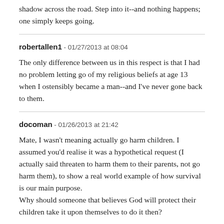shadow across the road. Step into it--and nothing happens; one simply keeps going.
robertallen1 - 01/27/2013 at 08:04
The only difference between us in this respect is that I had no problem letting go of my religious beliefs at age 13 when I ostensibly became a man--and I've never gone back to them.
docoman - 01/26/2013 at 21:42
Mate, I wasn't meaning actually go harm children. I assumed you'd realise it was a hypothetical request (I actually said threaten to harm them to their parents, not go harm them), to show a real world example of how survival is our main purpose.
Why should someone that believes God will protect their children take it upon themselves to do it then?